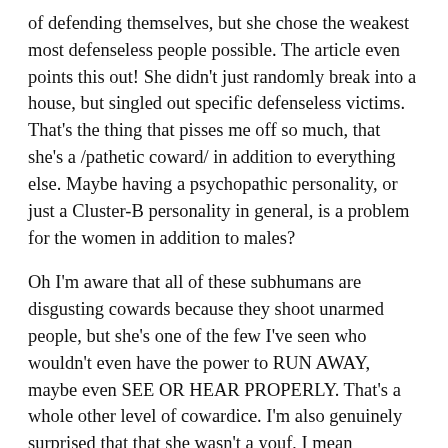of defending themselves, but she chose the weakest most defenseless people possible. The article even points this out! She didn't just randomly break into a house, but singled out specific defenseless victims. That's the thing that pisses me off so much, that she's a /pathetic coward/ in addition to everything else. Maybe having a psychopathic personality, or just a Cluster-B personality in general, is a problem for the women in addition to males?
Oh I'm aware that all of these subhumans are disgusting cowards because they shoot unarmed people, but she's one of the few I've seen who wouldn't even have the power to RUN AWAY, maybe even SEE OR HEAR PROPERLY. That's a whole other level of cowardice. I'm also genuinely surprised that that she wasn't a youf, I mean teenager. She didn't disappoint with her name though.
I love that elderly woman. She should receive some kind white nationalist reward. She's one of only two white people I've ever seen in these stories who have big enough balls/tough enough